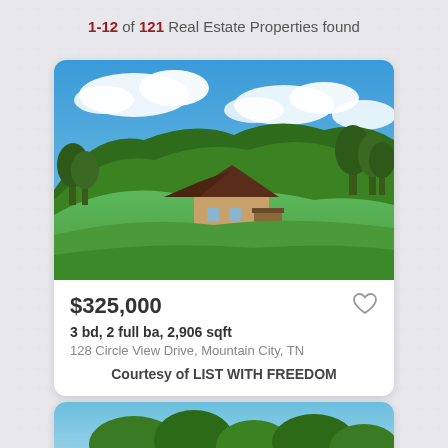1-12 of 121 Real Estate Properties found
[Figure (photo): Aerial/hillside view of a house with dark roof set among green lawns and trees, with rolling green mountain hills and blue sky with clouds in the background. Mountain City, TN property photo.]
$325,000
3 bd, 2 full ba, 2,906 sqft
128 Circle View Drive, Mountain City, TN
Courtesy of LIST WITH FREEDOM
[Figure (photo): Partial view of a second property listing card showing green trees and blue sky at the bottom of the page.]